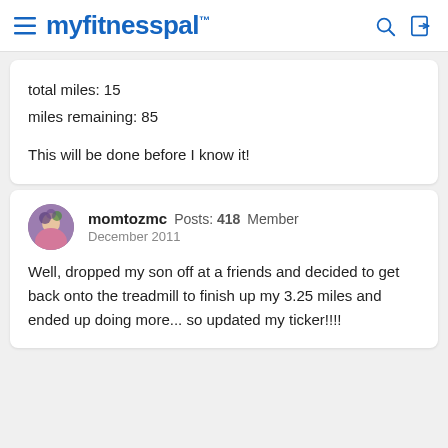myfitnesspal
total miles: 15
miles remaining: 85

This will be done before I know it!
momtozmc  Posts: 418  Member
December 2011

Well, dropped my son off at a friends and decided to get back onto the treadmill to finish up my 3.25 miles and ended up doing more... so updated my ticker!!!!